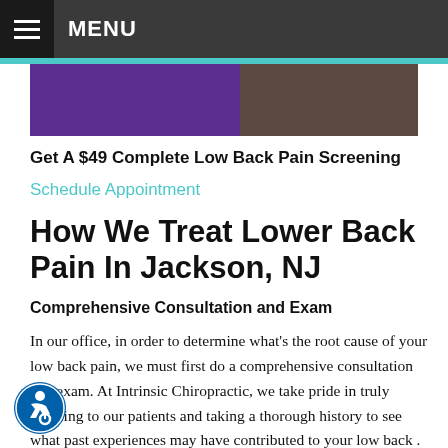MENU
[Figure (illustration): Banner image with purple and dark brown/khaki sections]
Get A $49 Complete Low Back Pain Screening
Schedule Appointment
How We Treat Lower Back Pain In Jackson, NJ
Comprehensive Consultation and Exam
In our office, in order to determine what's the root cause of your low back pain, we must first do a comprehensive consultation and exam. At Intrinsic Chiropractic, we take pride in truly listening to our patients and taking a thorough history to see what past experiences may have contributed to your low back . Then during a detailed exam we utilize chiropractic, functional, orthopedic and neurological tests to gain more information on what's causing the